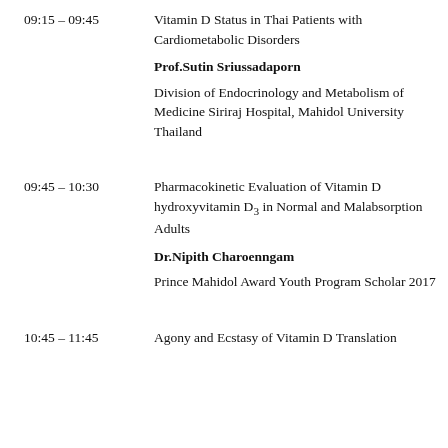09:15 – 09:45
Vitamin D Status in Thai Patients with Cardiometabolic Disorders
Prof.Sutin Sriussadaporn
Division of Endocrinology and Metabolism of Medicine Siriraj Hospital, Mahidol University Thailand
09:45 – 10:30
Pharmacokinetic Evaluation of Vitamin D hydroxyvitamin D3 in Normal and Malnourished Adults
Dr.Nipith Charoenngam
Prince Mahidol Award Youth Program Scholar 2017
10:45 – 11:45
Agony and Ecstasy of Vitamin D Translation